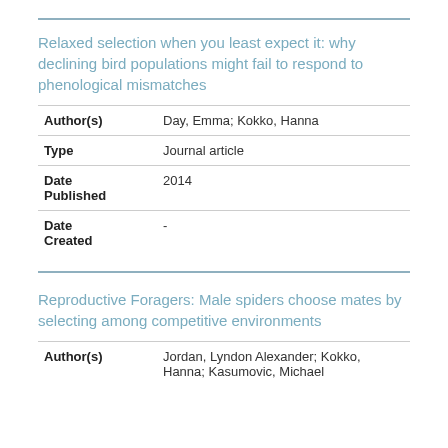Relaxed selection when you least expect it: why declining bird populations might fail to respond to phenological mismatches
| Field | Value |
| --- | --- |
| Author(s) | Day, Emma; Kokko, Hanna |
| Type | Journal article |
| Date Published | 2014 |
| Date Created | - |
Reproductive Foragers: Male spiders choose mates by selecting among competitive environments
| Field | Value |
| --- | --- |
| Author(s) | Jordan, Lyndon Alexander; Kokko, Hanna; Kasumovic, Michael |